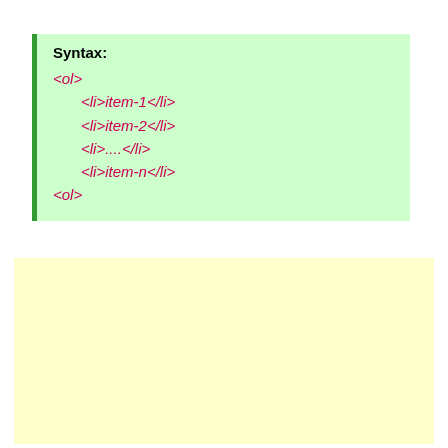Syntax:
<ol>
  <li>item-1</li>
  <li>item-2</li>
  <li>....</li>
  <li>item-n</li>
<ol>
[Figure (other): Empty yellow-background box]